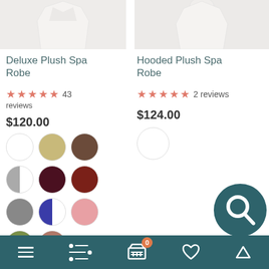[Figure (photo): Product photo of Deluxe Plush Spa Robe - white robe on light background]
[Figure (photo): Product photo of Hooded Plush Spa Robe - white hooded robe on light background]
Deluxe Plush Spa Robe
★★★★★ 43 reviews
$120.00
[Figure (infographic): Color swatches: white, tan, brown, half-gray, maroon, dark-red, gray, half-blue, pink, olive, mauve]
Hooded Plush Spa Robe
★★★★★ 2 reviews
$124.00
[Figure (infographic): Color swatch: white]
Navigation bar with menu, filter, cart (0), wishlist, and up arrow icons